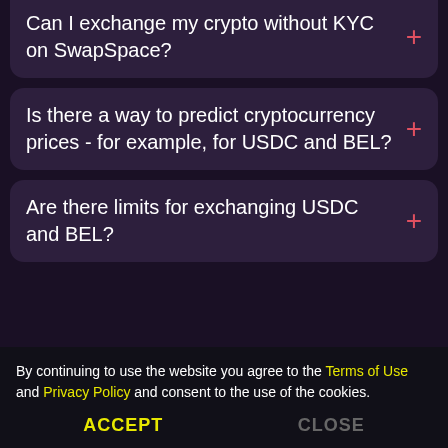Can I exchange my crypto without KYC on SwapSpace?
Is there a way to predict cryptocurrency prices - for example, for USDC and BEL?
Are there limits for exchanging USDC and BEL?
By continuing to use the website you agree to the Terms of Use and Privacy Policy and consent to the use of the cookies.
ACCEPT   CLOSE